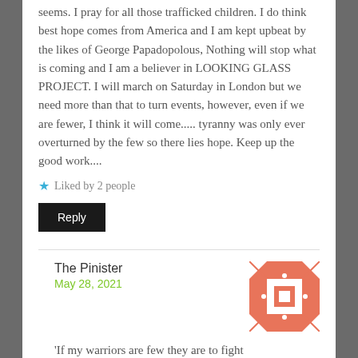seems. I pray for all those trafficked children. I do think best hope comes from America and I am kept upbeat by the likes of George Papadopolous, Nothing will stop what is coming and I am a believer in LOOKING GLASS PROJECT. I will march on Saturday in London but we need more than that to turn events, however, even if we are fewer, I think it will come..... tyranny was only ever overturned by the few so there lies hope. Keep up the good work....
Liked by 2 people
Reply
The Pinister
May 28, 2021
[Figure (illustration): Decorative geometric avatar icon with salmon/orange and white diamond/square pattern]
'If my warriors are few they are to fight
If my warriors are many they are to die'